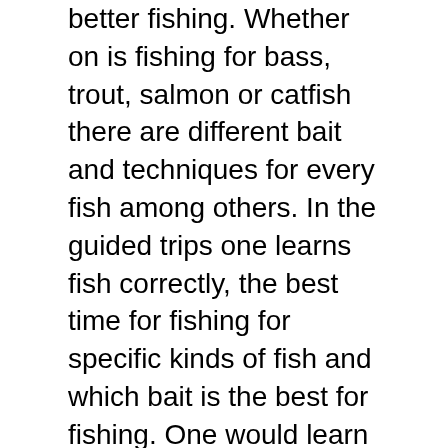better fishing. Whether on is fishing for bass, trout, salmon or catfish there are different bait and techniques for every fish among others. In the guided trips one learns fish correctly, the best time for fishing for specific kinds of fish and which bait is the best for fishing. One would learn the regulations for fishing regions. You would also be taught the method of catch and release.
Browsing the net for information on these trips is a very good way to find an approximate price for the services rendered. Different packages come with different prices. The rates per package differ. The package chosen by a person may b costlier than the package combined by two. For